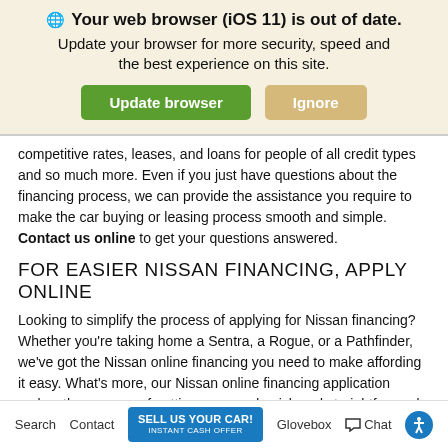[Figure (screenshot): Browser update notification banner with globe icon, bold title 'Your web browser (iOS 11) is out of date.', subtitle 'Update your browser for more security, speed and the best experience on this site.', green 'Update browser' button and tan 'Ignore' button.]
competitive rates, leases, and loans for people of all credit types and so much more. Even if you just have questions about the financing process, we can provide the assistance you require to make the car buying or leasing process smooth and simple. Contact us online to get your questions answered.
FOR EASIER NISSAN FINANCING, APPLY ONLINE
Looking to simplify the process of applying for Nissan financing? Whether you're taking home a Sentra, a Rogue, or a Pathfinder, we've got the Nissan online financing you need to make affording it easy. What's more, our Nissan online financing application makes the process of getting approved quick and straightforward. For an easier Nissan financing experience, just
Search   Contact   SELL US YOUR CAR! INSTANT CASH OFFER   Glovebox   Chat